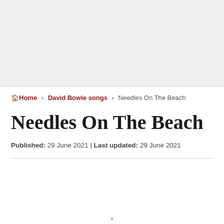[Figure (other): Gray advertisement banner area at the top of the page]
🏠Home › David Bowie songs › Needles On The Beach
Needles On The Beach
Published: 29 June 2021 | Last updated: 29 June 2021
x